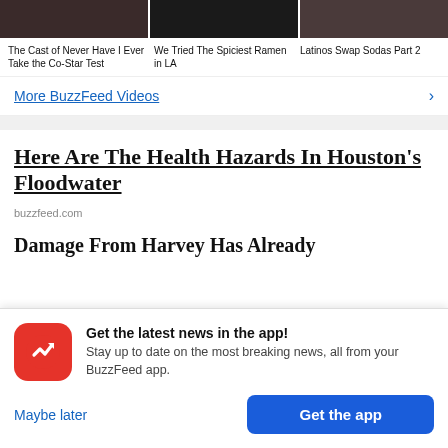[Figure (photo): Three video thumbnails side by side at top of screen: cast photo, ramen dish, and group photo]
The Cast of Never Have I Ever Take the Co-Star Test
We Tried The Spiciest Ramen in LA
Latinos Swap Sodas Part 2
More BuzzFeed Videos
Here Are The Health Hazards In Houston's Floodwater
buzzfeed.com
Damage From Harvey Has Already
Get the latest news in the app! Stay up to date on the most breaking news, all from your BuzzFeed app.
Maybe later
Get the app